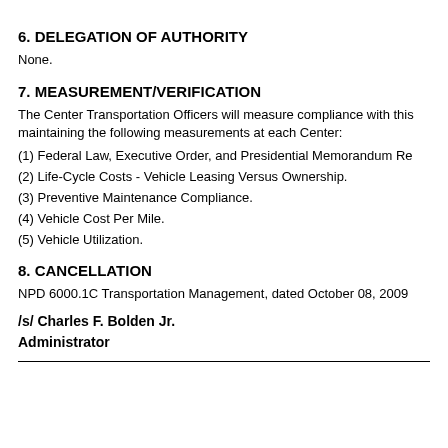6. DELEGATION OF AUTHORITY
None.
7. MEASUREMENT/VERIFICATION
The Center Transportation Officers will measure compliance with this maintaining the following measurements at each Center:
(1) Federal Law, Executive Order, and Presidential Memorandum Re
(2) Life-Cycle Costs - Vehicle Leasing Versus Ownership.
(3) Preventive Maintenance Compliance.
(4) Vehicle Cost Per Mile.
(5) Vehicle Utilization.
8. CANCELLATION
NPD 6000.1C Transportation Management, dated October 08, 2009
/s/ Charles F. Bolden Jr.
Administrator